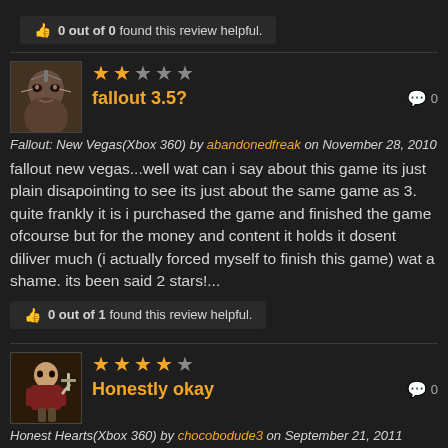0 out of 0 found this review helpful.
fallout 3.5?
Fallout: New Vegas(Xbox 360) by abandonedfreak on November 28, 2010
fallout new vegas...well wat can i say about this game its just plain disapointing to see its just about the same game as 3. quite frankly it is i purchased the game and finished the game ofcourse but for the money and content it holds it dosent diliver much (i actually forced myself to finish this game) wat a shame. its been said 2 stars!...
0 out of 1 found this review helpful.
Honestly okay
Honest Hearts(Xbox 360) by chocobodude3 on September 21, 2011
Honest Hearts take you on an intresting trip throught through Zion Vally. Unlide Dead Money in which you loose all of your equipment until you complete Dead Money. Honest Hearts gives you a compromise, you can bring the gear you have but your carry weight